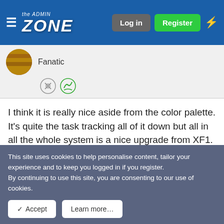the ADMIN ZONE — Log in | Register
Fanatic
I think it is really nice aside from the color palette. It's quite the task tracking all of it down but all in all the whole system is a nice upgrade from XF1.
May 14, 2018  #4
Alpha1
Administrator
This site uses cookies to help personalise content, tailor your experience and to keep you logged in if you register.
By continuing to use this site, you are consenting to our use of cookies.